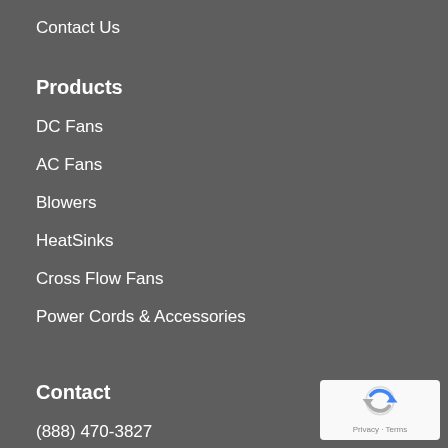Contact Us
Products
DC Fans
AC Fans
Blowers
HeatSinks
Cross Flow Fans
Power Cords & Accessories
Contact
(888) 470-3827
sales@ystechusa.com
[Figure (logo): Google reCAPTCHA badge with Privacy and Terms links]